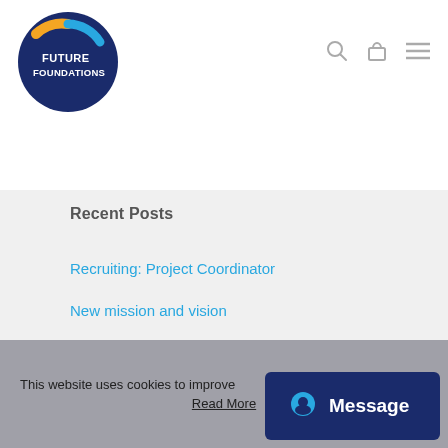[Figure (logo): Future Foundations circular logo with dark navy blue background, gold/yellow and light blue accent arcs, white text reading FUTURE FOUNDATIONS]
[Figure (other): Navigation icons: search (magnifying glass), bag/cart, and hamburger menu lines]
Recent Posts
Recruiting: Project Coordinator
New mission and vision
Home is where the heart is
Future Foundations stands in solidarity
Facing History & Ourselves UK, launches Dirt Is Good Schools Programme
This website uses cookies to improve
Read More
[Figure (other): Dark navy Message chat button with alien/face icon on the right side of cookie bar]